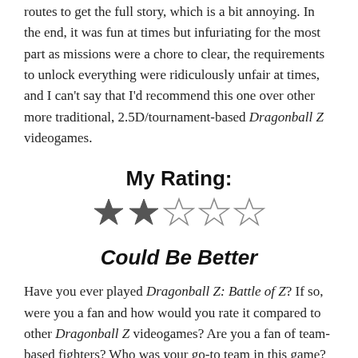routes to get the full story, which is a bit annoying. In the end, it was fun at times but infuriating for the most part as missions were a chore to clear, the requirements to unlock everything were ridiculously unfair at times, and I can't say that I'd recommend this one over other more traditional, 2.5D/tournament-based Dragonball Z videogames.
My Rating:
[Figure (other): 2 out of 5 filled stars rating: two dark filled stars followed by three empty outline stars]
Could Be Better
Have you ever played Dragonball Z: Battle of Z? If so, were you a fan and how would you rate it compared to other Dragonball Z videogames? Are you a fan of team-based fighters? Who was your go-to team in this game? What did you think to Battle of